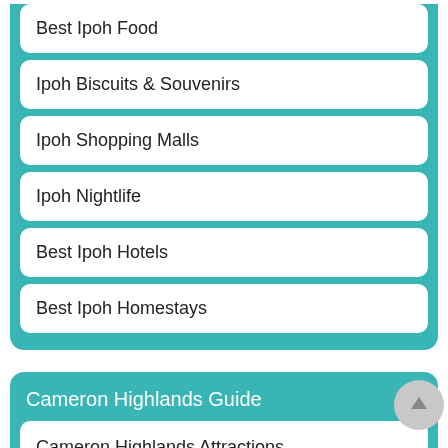Best Ipoh Food
Ipoh Biscuits & Souvenirs
Ipoh Shopping Malls
Ipoh Nightlife
Best Ipoh Hotels
Best Ipoh Homestays
Cameron Highlands Guide
Cameron Highlands Attractions